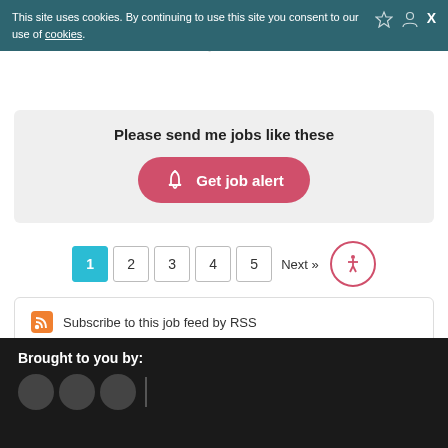This site uses cookies. By continuing to use this site you consent to our use of cookies.
Please send me jobs like these
Get job alert
1  2  3  4  5  Next >>
Subscribe to this job feed by RSS
Brought to you by: